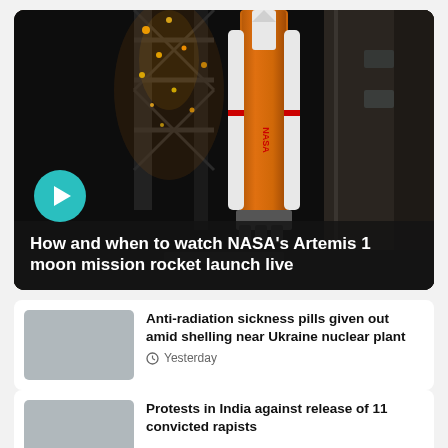[Figure (photo): NASA Artemis 1 rocket on launch pad at night with golden lights, white rocket body with NASA logo visible, dark background. Play button overlay in teal/green circle at lower left.]
How and when to watch NASA's Artemis 1 moon mission rocket launch live
[Figure (photo): Gray placeholder thumbnail image for news article about anti-radiation pills]
Anti-radiation sickness pills given out amid shelling near Ukraine nuclear plant
Yesterday
[Figure (photo): Gray placeholder thumbnail image for news article about protests in India]
Protests in India against release of 11 convicted rapists